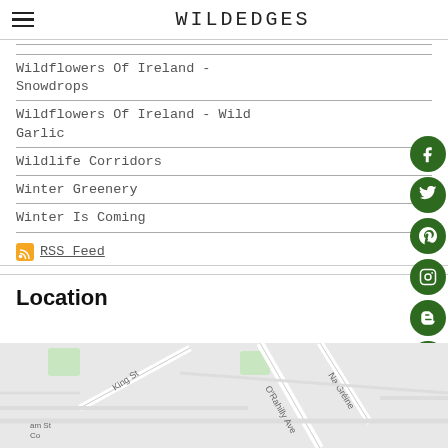WILDEDGES
Wildflowers Of Ireland - Snowdrops
Wildflowers Of Ireland - Wild Garlic
Wildlife Corridors
Winter Greenery
Winter Is Coming
RSS Feed
Location
[Figure (map): Street map showing King St, O'Rahilly Ave, Na Gréine, with road R707 marked]